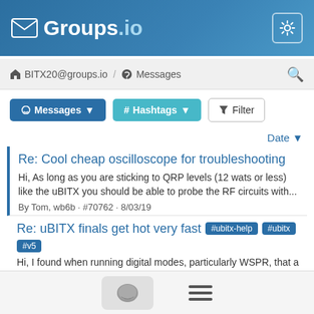Groups.io
BITX20@groups.io / Messages
Messages | # Hashtags | Filter
Date
Re: Cool cheap oscilloscope for troubleshooting
Hi, As long as you are sticking to QRP levels (12 wats or less) like the uBITX you should be able to probe the RF circuits with...
By Tom, wb6b · #70762 · 8/03/19
Re: uBITX finals get hot very fast #ubitx-help #ubitx #v5
Hi, I found when running digital modes, particularly WSPR, that a